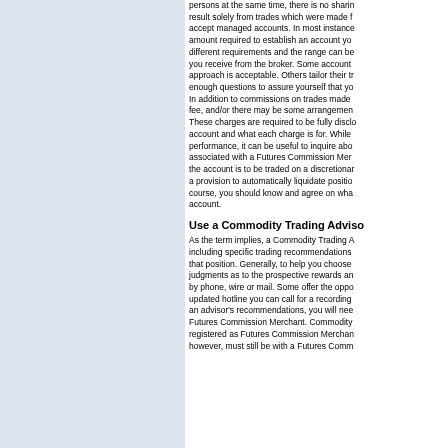persons at the same time, there is no sharing result solely from trades which were made for accept managed accounts. In most instances, amount required to establish an account you different requirements and the range can be you receive from the broker. Some account approach is acceptable. Others tailor their tr enough questions to assure yourself that yo In addition to commissions on trades made fee, and/or there may be some arrangement These charges are required to be fully disclo account and what each charge is for. While performance, it can be useful to inquire abo associated with a Futures Commission Mer the account is to be traded on a discretionary a provision to automatically liquidate positio course, you should know and agree on wha account.
Use a Commodity Trading Adviso
As the term implies, a Commodity Trading A including specific trading recommendations that position. Generally, to help you choose judgments as to the prospective rewards an by phone, wire or mail. Some offer the oppo updated hotline you can call for a recording an advisor's recommendations, you will nee Futures Commission Merchant. Commodity registered as Futures Commission Mercha however, must still be with a Futures Comm